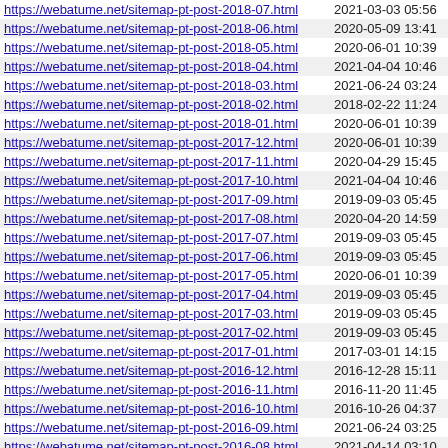| https://webatume.net/sitemap-pt-post-2018-07.html | 2021-03-03 05:56 |
| https://webatume.net/sitemap-pt-post-2018-06.html | 2020-05-09 13:41 |
| https://webatume.net/sitemap-pt-post-2018-05.html | 2020-06-01 10:39 |
| https://webatume.net/sitemap-pt-post-2018-04.html | 2021-04-04 10:46 |
| https://webatume.net/sitemap-pt-post-2018-03.html | 2021-06-24 03:24 |
| https://webatume.net/sitemap-pt-post-2018-02.html | 2018-02-22 11:24 |
| https://webatume.net/sitemap-pt-post-2018-01.html | 2020-06-01 10:39 |
| https://webatume.net/sitemap-pt-post-2017-12.html | 2020-06-01 10:39 |
| https://webatume.net/sitemap-pt-post-2017-11.html | 2020-04-29 15:45 |
| https://webatume.net/sitemap-pt-post-2017-10.html | 2021-04-04 10:46 |
| https://webatume.net/sitemap-pt-post-2017-09.html | 2019-09-03 05:45 |
| https://webatume.net/sitemap-pt-post-2017-08.html | 2020-04-20 14:59 |
| https://webatume.net/sitemap-pt-post-2017-07.html | 2019-09-03 05:45 |
| https://webatume.net/sitemap-pt-post-2017-06.html | 2019-09-03 05:45 |
| https://webatume.net/sitemap-pt-post-2017-05.html | 2020-06-01 10:39 |
| https://webatume.net/sitemap-pt-post-2017-04.html | 2019-09-03 05:45 |
| https://webatume.net/sitemap-pt-post-2017-03.html | 2019-09-03 05:45 |
| https://webatume.net/sitemap-pt-post-2017-02.html | 2019-09-03 05:45 |
| https://webatume.net/sitemap-pt-post-2017-01.html | 2017-03-01 14:15 |
| https://webatume.net/sitemap-pt-post-2016-12.html | 2016-12-28 15:11 |
| https://webatume.net/sitemap-pt-post-2016-11.html | 2016-11-20 11:45 |
| https://webatume.net/sitemap-pt-post-2016-10.html | 2016-10-26 04:37 |
| https://webatume.net/sitemap-pt-post-2016-09.html | 2021-06-24 03:25 |
| https://webatume.net/sitemap-pt-post-2016-08.html | 2021-04-14 03:10 |
| https://webatume.net/sitemap-pt-page-2020-04.html | 2021-07-30 15:38 |
| https://webatume.net/sitemap-pt-page-2018-08.html | 2018-08-23 02:35 |
| https://webatume.net/sitemap-pt-page-2018-07.html | 2018-07-23 14:38 |
| https://webatume.net/sitemap-pt-page-2018-05.html | 2018-05-17 01:18 |